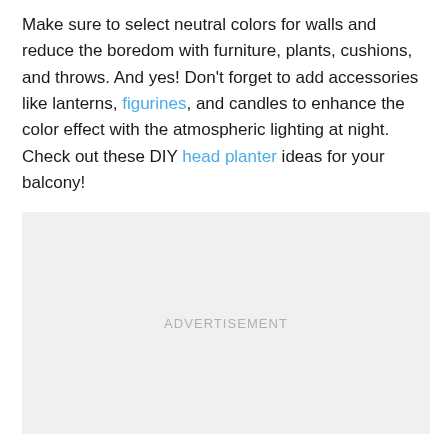Make sure to select neutral colors for walls and reduce the boredom with furniture, plants, cushions, and throws. And yes! Don't forget to add accessories like lanterns, figurines, and candles to enhance the color effect with the atmospheric lighting at night. Check out these DIY head planter ideas for your balcony!
[Figure (other): Advertisement placeholder box with light gray background and centered text 'ADVERTISEMENT']